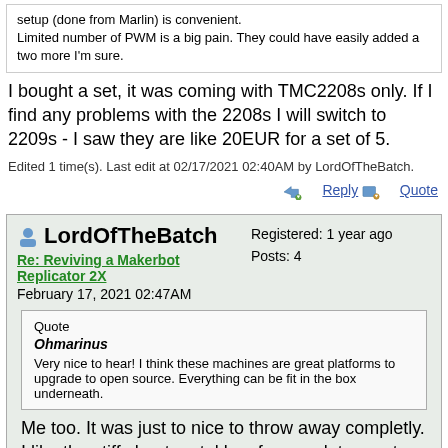setup (done from Marlin) is convenient.
Limited number of PWM is a big pain. They could have easily added a two more I'm sure.
I bought a set, it was coming with TMC2208s only. If I find any problems with the 2208s I will switch to 2209s - I saw they are like 20EUR for a set of 5.
Edited 1 time(s). Last edit at 02/17/2021 02:40AM by LordOfTheBatch.
Reply   Quote
LordOfTheBatch
Registered: 1 year ago
Posts: 4
Re: Reviving a Makerbot Replicator 2X
February 17, 2021 02:47AM
Quote
Ohmarinus
Very nice to hear! I think these machines are great platforms to upgrade to open source. Everything can be fit in the box underneath.
Me too. It was just to nice to throw away completly. I like the stiff sheet metal box frame a lot - most cheap